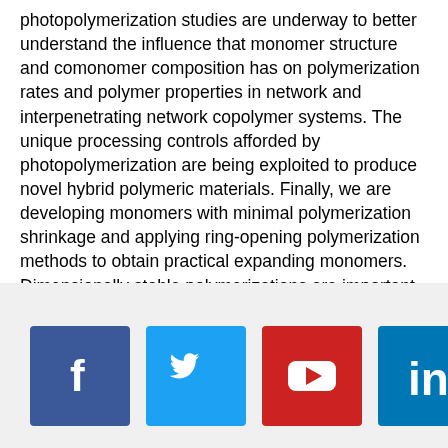photopolymerization studies are underway to better understand the influence that monomer structure and comonomer composition has on polymerization rates and polymer properties in network and interpenetrating network copolymer systems. The unique processing controls afforded by photopolymerization are being exploited to produce novel hybrid polymeric materials. Finally, we are developing monomers with minimal polymerization shrinkage and applying ring-opening polymerization methods to obtain practical expanding monomers. Dimensionally stable polymerizations are important in diverse applications including adhesives, coatings, lithography, microelectronics and strain-free polymers.
[Figure (other): Social media icons row: Facebook (blue), Twitter (light blue), YouTube (red), LinkedIn (blue), Instagram (brown/tan)]